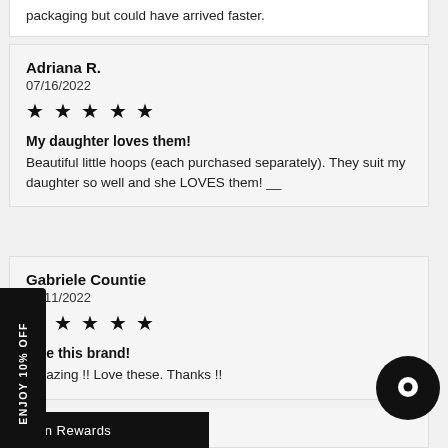packaging but could have arrived faster.
Adriana R.
07/16/2022
★★★★★
My daughter loves them!
Beautiful little hoops (each purchased separately). They suit my daughter so well and she LOVES them! __
Gabriele Countie
07/11/2022
★★★★★
love this brand!
Amazing !! Love these. Thanks !!
ENJOY 10% OFF
Earn Rewards